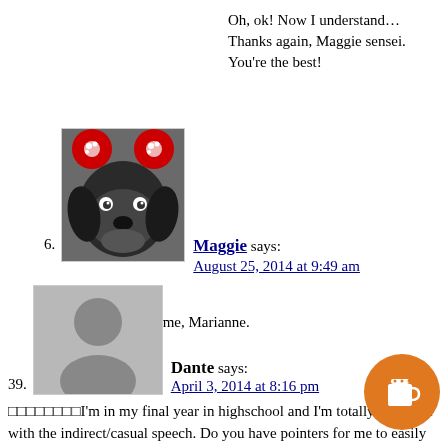Oh, ok! Now I understand… Thanks again, Maggie sensei. You're the best!
6. Maggie says: August 25, 2014 at 9:49 am
@Marianne
You're very welcome, Marianne. :)
39. Dante says: April 3, 2014 at 8:16 pm
□□□□□□□□I'm in my final year in highschool and I'm totally confused with the indirect/casual speech. Do you have pointers for me to easily convert a polite sentence to a casual one? Especially ones with □□□□, and others like that. □□□□□□□□□□□